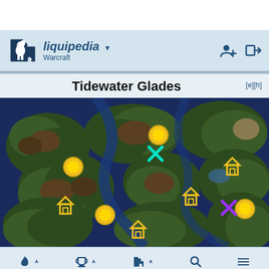liquipedia Warcraft
Tidewater Glades
[Figure (map): Tidewater Glades game map showing terrain with forests, water, yellow gold mine markers, house/town hall icons in yellow, a cyan X marker, and a purple X marker on a dark blue/green terrain background.]
Navigation toolbar with water drop, trophy, puzzle piece, search, and list icons